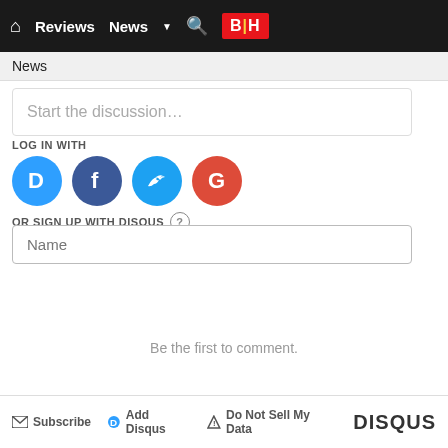Reviews News B|H
News
Start the discussion...
LOG IN WITH
[Figure (other): Social login icons: Disqus (blue circle with D), Facebook (dark blue circle with f), Twitter (light blue circle with bird), Google (red circle with G)]
OR SIGN UP WITH DISQUS ?
Name
Be the first to comment.
Subscribe  Add Disqus  Do Not Sell My Data  DISQUS